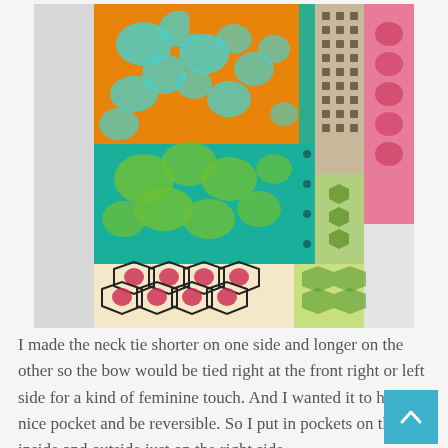[Figure (photo): A colorful patchwork apron made from multiple floral and geometric fabric patterns in orange, teal, green, pink, and cream colors, hung against a white wall. The apron shows patchwork panels with floral prints, hexagon patterns with red flowers, and teal botanical designs.]
I made the neck tie shorter on one side and longer on the other so the bow would be tied right at the front right or left side for a kind of feminine touch. And I wanted it to have a nice pocket and be reversible. So I put in pockets on the inside and outside just on the right side.